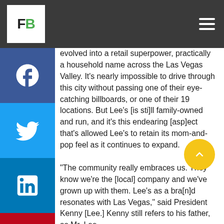FB [logo]
[Figure (logo): Social media share buttons sidebar: Facebook, Twitter, LinkedIn, Pinterest, Reddit]
evolved into a retail superpower, practically a household name across the Las Vegas Valley. It's nearly impossible to drive through this city without passing one of their eye-catching billboards, or one of their 19 locations. But Lee's [is sti]ll family-owned and run, and it's this endearing [asp]ect that's allowed Lee's to retain its mom-and-pop feel as it continues to expand.

"The community really embraces us. They know we're the [local] company and we've grown up with them. Lee's as a bra[n]d resonates with Las Vegas," said President Kenny [Lee.] Kenny still refers to his father, as Mr. Lee.

[Lee's] doesn't do business on the family name alon[e,] [how]ever. Lee's is the largest liquor retailer in Las Vegas, and a critical aspect of its business is variety…often more variety than its customers could imagine.